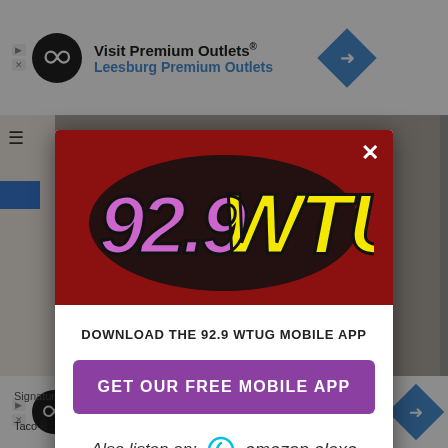[Figure (screenshot): Top advertisement banner: Visit Premium Outlets / Leesburg Premium Outlets with infinity loop icon and navigation arrow icon]
[Figure (logo): 92.9 WTUG radio station logo in a dark red modal popup with close (X) button]
DOWNLOAD THE 92.9 WTUG MOBILE APP
GET OUR FREE MOBILE APP
Also listen on: amazon alexa
[Figure (screenshot): Bottom advertisement banner: In-store shopping with infinity loop icon and navigation arrow icon]